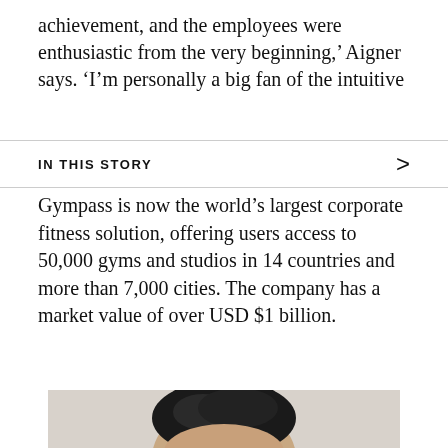achievement, and the employees were enthusiastic from the very beginning,' Aigner says. 'I'm personally a big fan of the intuitive
IN THIS STORY
Gympass is now the world's largest corporate fitness solution, offering users access to 50,000 gyms and studios in 14 countries and more than 7,000 cities. The company has a market value of over USD $1 billion.
[Figure (photo): Portrait photo of a man with dark hair, cropped at the top of the frame showing the top of his head and forehead, against a light background.]